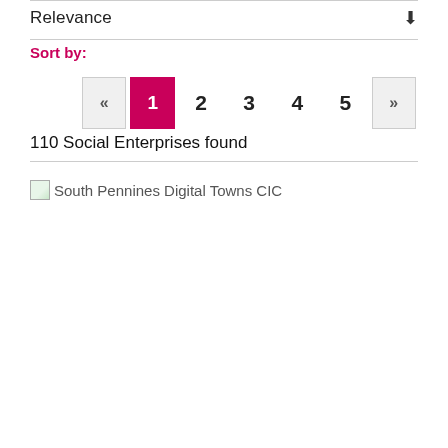Relevance
Sort by:
« 1 2 3 4 5 »
110 Social Enterprises found
[Figure (other): Broken image placeholder with alt text: South Pennines Digital Towns CIC]